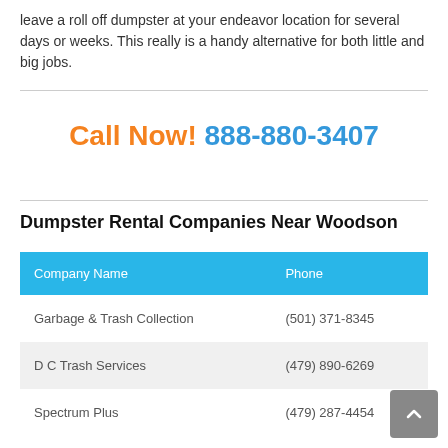leave a roll off dumpster at your endeavor location for several days or weeks. This really is a handy alternative for both little and big jobs.
Call Now! 888-880-3407
Dumpster Rental Companies Near Woodson
| Company Name | Phone |
| --- | --- |
| Garbage & Trash Collection | (501) 371-8345 |
| D C Trash Services | (479) 890-6269 |
| Spectrum Plus | (479) 287-4454 |